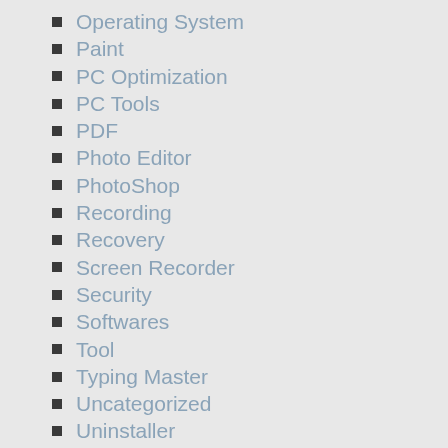Operating System
Paint
PC Optimization
PC Tools
PDF
Photo Editor
PhotoShop
Recording
Recovery
Screen Recorder
Security
Softwares
Tool
Typing Master
Uncategorized
Uninstaller